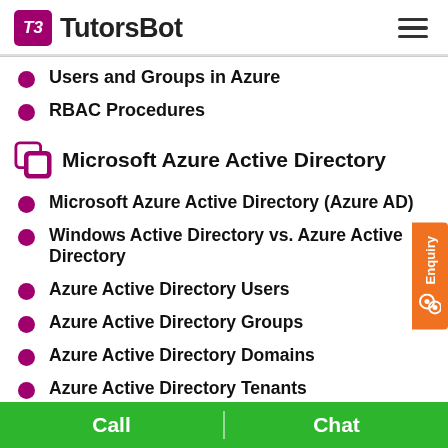TutorsBot
Users and Groups in Azure
RBAC Procedures
Microsoft Azure Active Directory
Microsoft Azure Active Directory (Azure AD)
Windows Active Directory vs. Azure Active Directory
Azure Active Directory Users
Azure Active Directory Groups
Azure Active Directory Domains
Azure Active Directory Tenants
Call   Chat